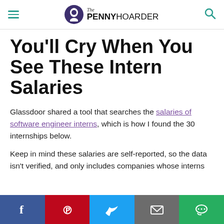The PENNY HOARDER
You'll Cry When You See These Intern Salaries
Glassdoor shared a tool that searches the salaries of software engineer interns, which is how I found the 30 internships below.
Keep in mind these salaries are self-reported, so the data isn't verified, and only includes companies whose interns share their information.